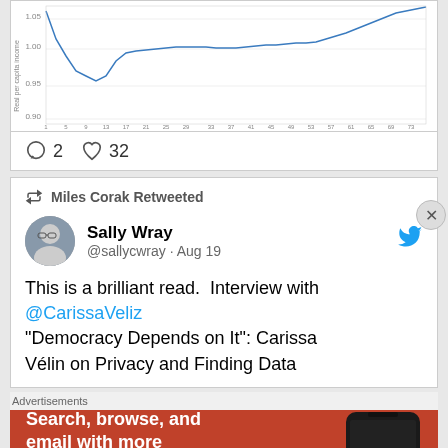[Figure (continuous-plot): Line chart showing Real per capita income vs Percentile of income distribution, with y-axis values around 0.90 to 1.00+, x-axis ranging from 1 to 95 percentile. Line dips below 1.00 then rises above.]
2   32
Miles Corak Retweeted
Sally Wray @sallycwray · Aug 19
This is a brilliant read.  Interview with @CarissaVeliz
"Democracy Depends on It": Carissa Vélin on Privacy and Finding Data
Advertisements
[Figure (illustration): DuckDuckGo advertisement banner with orange/red background. Text: Search, browse, and email with more privacy. All in One Free App. Shows a phone with DuckDuckGo logo.]